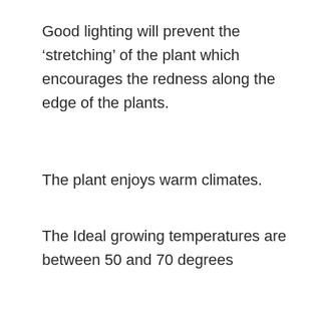Good lighting will prevent the ‘stretching’ of the plant which encourages the redness along the edge of the plants.
The plant enjoys warm climates.
The Ideal growing temperatures are between 50 and 70 degrees